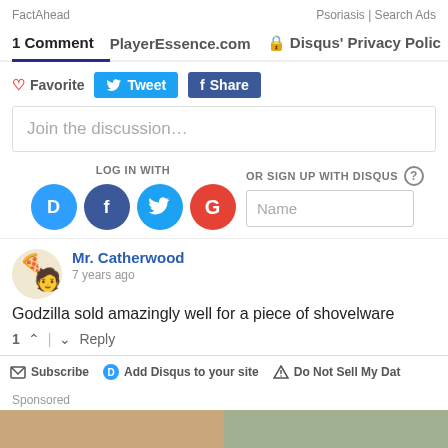FactAhead    Psoriasis | Search Ads
1 Comment   PlayerEssence.com   🔒 Disqus' Privacy Polic
♡ Favorite  Tweet  Share
Join the discussion...
LOG IN WITH
OR SIGN UP WITH DISQUS ?
Name
Mr. Catherwood
7 years ago
Godzilla sold amazingly well for a piece of shovelware
1 ∧ | ∨ Reply
Subscribe   Add Disqus to your site   Do Not Sell My Data
Sponsored